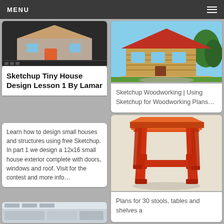MENU
[Figure (screenshot): Sketchup 3D model of a tiny house exterior, dark background]
Sketchup Tiny House Design Lesson 1 By Lamar
Learn how to design small houses and structures using free Sketchup. In part 1 we design a 12x16 small house exterior complete with doors, windows and roof. Visit for the contest and more info…
[Figure (photo): Photograph of a log cabin style house with red roof and garden]
Sketchup Woodworking | Using Sketchup for Woodworking Plans…
[Figure (illustration): 3D rendered orange/red stool or side table in Sketchup style]
Plans for 30 stools, tables and shelves a
[Figure (screenshot): Partial screenshot of Sketchup software interface at bottom left]